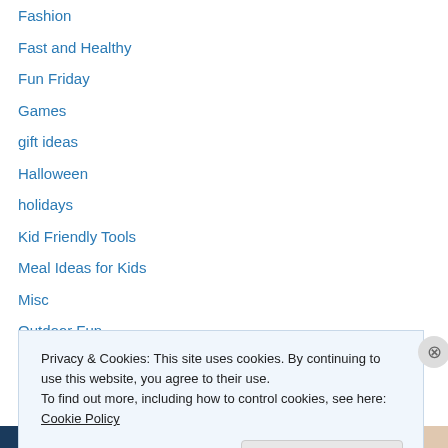Fashion
Fast and Healthy
Fun Friday
Games
gift ideas
Halloween
holidays
Kid Friendly Tools
Meal Ideas for Kids
Misc
Outdoor Fun
Party Ideas
pets
Privacy & Cookies: This site uses cookies. By continuing to use this website, you agree to their use.
To find out more, including how to control cookies, see here: Cookie Policy
Close and accept